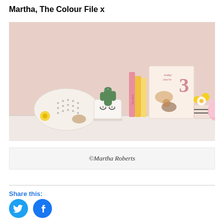Martha, The Colour File x
[Figure (photo): A shelf with a ceramic clock, a small potted cactus in a cup with eyelash design, pink and yellow books, a birthday card showing a number 3 with animal illustrations, and small decorative items including flowers and a pink crocheted item.]
©Martha Roberts
Share this:
[Figure (other): Twitter and Facebook social share icon buttons (blue circles with bird and f logos)]